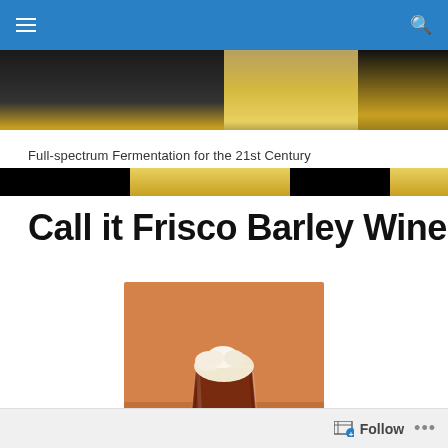Navigation bar with hamburger menu and search icon
[Figure (photo): Hero banner showing beer being poured into a glass, with dark and golden tones. Text overlay reads 'Full-spectrum Fermentation for the 21st Century']
Full-spectrum Fermentation for the 21st Century
Call it Frisco Barley Wine
[Figure (photo): A dark amber barley wine beer in a pint glass with a thick off-white foam head, set against an orange/warm background]
Follow ...